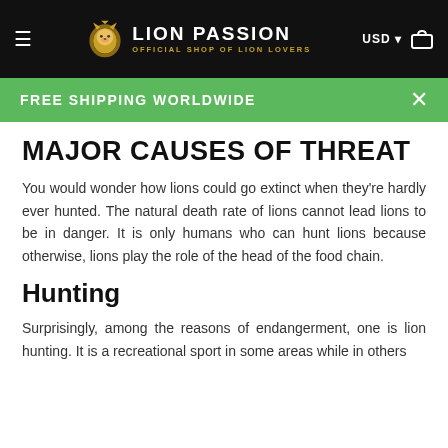LION PASSION — OFFICIAL SHOP OF LION LOVERS | USD | Cart
FREE SHIPPING WORLDWIDE
MAJOR CAUSES OF THREAT
You would wonder how lions could go extinct when they're hardly ever hunted. The natural death rate of lions cannot lead lions to be in danger. It is only humans who can hunt lions because otherwise, lions play the role of the head of the food chain.
Hunting
Surprisingly, among the reasons of endangerment, one is lion hunting. It is a recreational sport in some areas while in others...